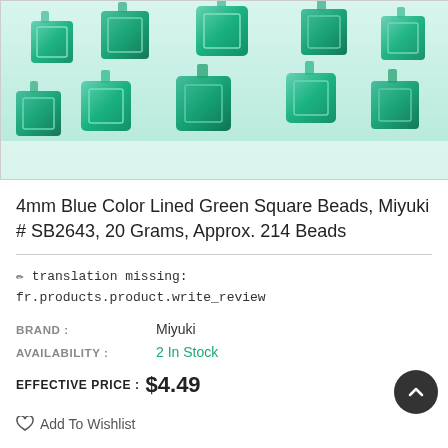[Figure (photo): Teal/green translucent square glass beads scattered on a white background]
4mm Blue Color Lined Green Square Beads, Miyuki # SB2643, 20 Grams, Approx. 214 Beads
✏ translation missing: fr.products.product.write_review
BRAND : Miyuki
AVAILABILITY : 2 In Stock
EFFECTIVE PRICE : $4.49
Add To Wishlist